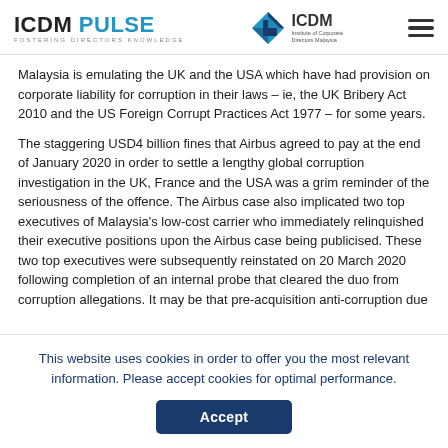ICDM PULSE - FOSTERING DIRECTORS KNOWLEDGE | ICDM Institute of Corporate Directors Malaysia
Malaysia is emulating the UK and the USA which have had provision on corporate liability for corruption in their laws – ie, the UK Bribery Act 2010 and the US Foreign Corrupt Practices Act 1977 – for some years.
The staggering USD4 billion fines that Airbus agreed to pay at the end of January 2020 in order to settle a lengthy global corruption investigation in the UK, France and the USA was a grim reminder of the seriousness of the offence. The Airbus case also implicated two top executives of Malaysia's low-cost carrier who immediately relinquished their executive positions upon the Airbus case being publicised. These two top executives were subsequently reinstated on 20 March 2020 following completion of an internal probe that cleared the duo from corruption allegations. It may be that pre-acquisition anti-corruption due
This website uses cookies in order to offer you the most relevant information. Please accept cookies for optimal performance.
Accept